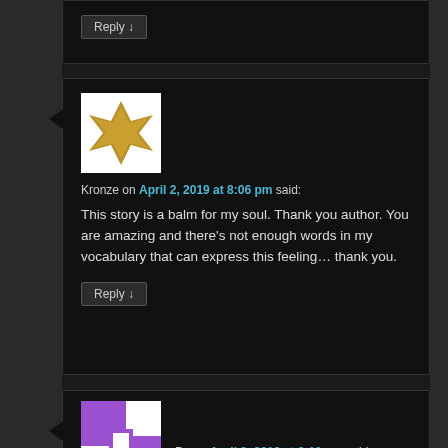Reply ↓
[Figure (illustration): Avatar image for user Kronze — white background with gold/tan abstract star or pinwheel shape]
Kronze on April 2, 2019 at 8:06 pm said:
This story is a balm for my soul. Thank you author. You are amazing and there's not enough words in my vocabulary that can express this feeling… thank you.
Reply ↓
[Figure (illustration): Avatar image for user Po — purple background with white geometric/pinwheel pattern]
Po on April 2, 2019 at 8:10 pm said: